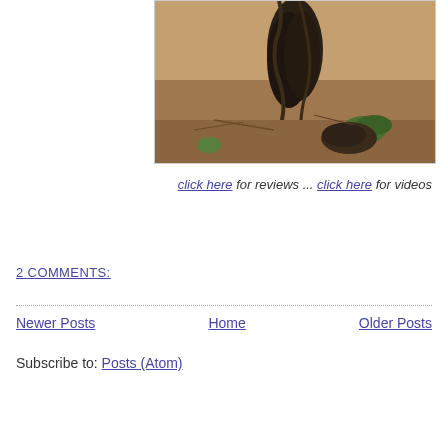[Figure (photo): Close-up photograph of an old gnarled grapevine trunk in dry soil, with sparse green weeds visible around the base]
click here for reviews ... click here for videos
2 COMMENTS:
Newer Posts   Home   Older Posts
Subscribe to: Posts (Atom)